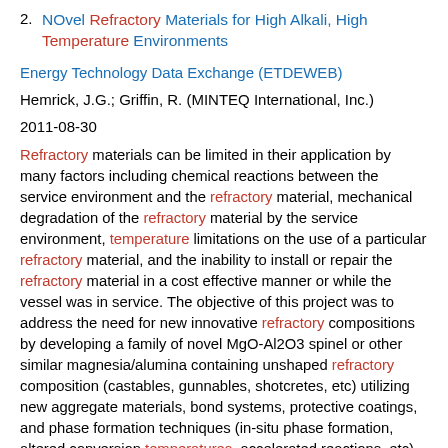2. NOvel Refractory Materials for High Alkali, High Temperature Environments
Energy Technology Data Exchange (ETDEWEB)
Hemrick, J.G.; Griffin, R. (MINTEQ International, Inc.)
2011-08-30
Refractory materials can be limited in their application by many factors including chemical reactions between the service environment and the refractory material, mechanical degradation of the refractory material by the service environment, temperature limitations on the use of a particular refractory material, and the inability to install or repair the refractory material in a cost effective manner or while the vessel was in service. The objective of this project was to address the need for new innovative refractory compositions by developing a family of novel MgO-Al2O3 spinel or other similar magnesia/alumina containing unshaped refractory composition (castables, gunnables, shotcretes, etc) utilizing new aggregate materials, bond systems, protective coatings, and phase formation techniques (in-situ phase formation, altered conversion temperatures, accelerated reactions, etc). This